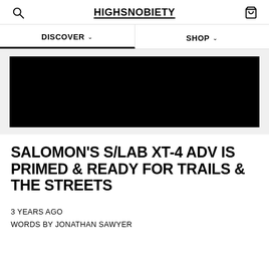HIGHSNOBIETY
DISCOVER
SHOP
[Figure (photo): Dark/black hero image for article about Salomon S/LAB XT-4 ADV shoe]
SALOMON'S S/LAB XT-4 ADV IS PRIMED & READY FOR TRAILS & THE STREETS
3 YEARS AGO
WORDS BY JONATHAN SAWYER